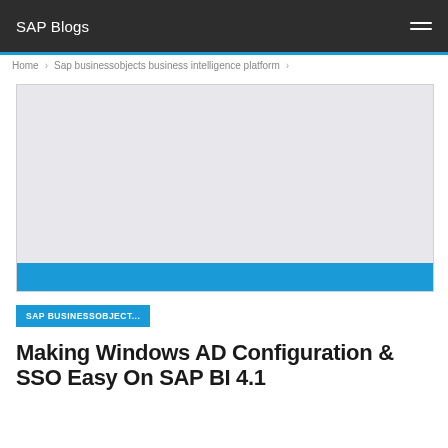SAP Blogs
Home › Sap businessobjects business intelligence platform ›
[Figure (photo): Hero image placeholder — light grey rectangle with a blue band at the bottom]
SAP BUSINESSOBJECT...
Making Windows AD Configuration & SSO Easy On SAP BI 4.1